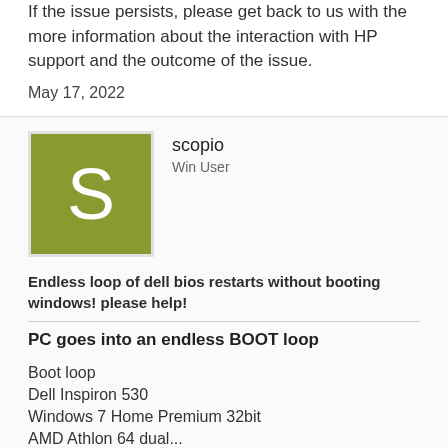If the issue persists, please get back to us with the more information about the interaction with HP support and the outcome of the issue.
May 17, 2022
scopio
Win User
Endless loop of dell bios restarts without booting windows! please help!
PC goes into an endless BOOT loop
Boot loop
Dell Inspiron 530
Windows 7 Home Premium 32bit
AMD Athlon 64 dual...